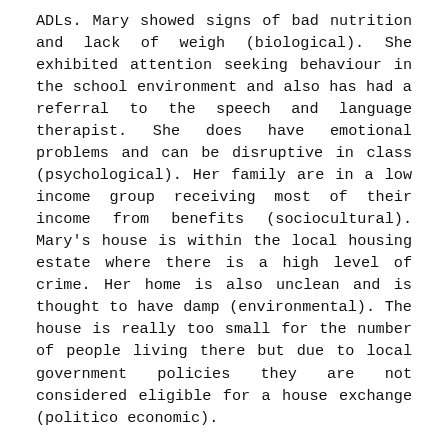ADLs. Mary showed signs of bad nutrition and lack of weigh (biological). She exhibited attention seeking behaviour in the school environment and also has had a referral to the speech and language therapist. She does have emotional problems and can be disruptive in class (psychological). Her family are in a low income group receiving most of their income from benefits (sociocultural). Mary's house is within the local housing estate where there is a high level of crime. Her home is also unclean and is thought to have damp (environmental). The house is really too small for the number of people living there but due to local government policies they are not considered eligible for a house exchange (politico economic).
After carrying out a regular school health examination, it was noted that Mary was